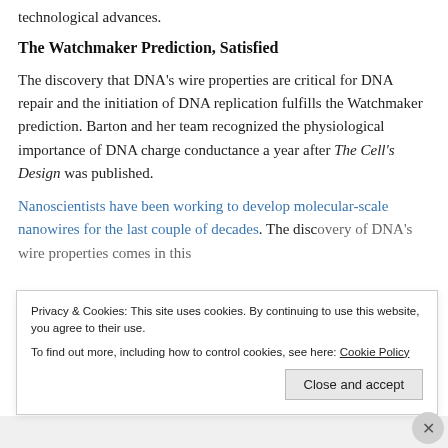technological advances.
The Watchmaker Prediction, Satisfied
The discovery that DNA's wire properties are critical for DNA repair and the initiation of DNA replication fulfills the Watchmaker prediction. Barton and her team recognized the physiological importance of DNA charge conductance a year after The Cell's Design was published.
Nanoscientists have been working to develop molecular-scale nanowires for the last couple of decades. The discovery of DNA's wire properties comes in this
Privacy & Cookies: This site uses cookies. By continuing to use this website, you agree to their use.
To find out more, including how to control cookies, see here: Cookie Policy
Close and accept